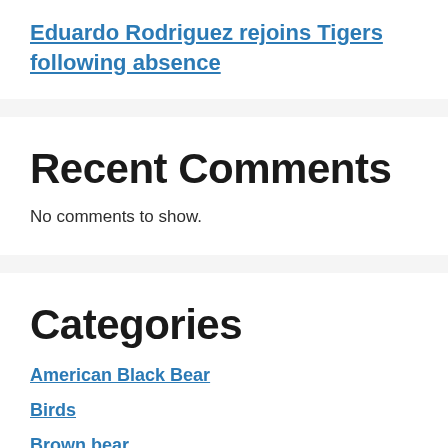Eduardo Rodriguez rejoins Tigers following absence
Recent Comments
No comments to show.
Categories
American Black Bear
Birds
Brown bear